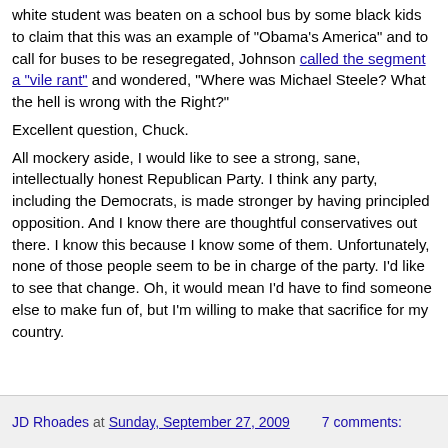white student was beaten on a school bus by some black kids to claim that this was an example of "Obama's America" and to call for buses to be resegregated, Johnson called the segment a "vile rant" and wondered, "Where was Michael Steele? What the hell is wrong with the Right?"
Excellent question, Chuck.
All mockery aside, I would like to see a strong, sane, intellectually honest Republican Party. I think any party, including the Democrats, is made stronger by having principled opposition. And I know there are thoughtful conservatives out there. I know this because I know some of them. Unfortunately, none of those people seem to be in charge of the party. I'd like to see that change. Oh, it would mean I'd have to find someone else to make fun of, but I'm willing to make that sacrifice for my country.
JD Rhoades at Sunday, September 27, 2009   7 comments: